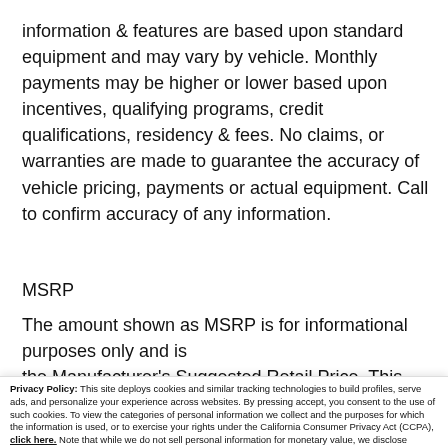information & features are based upon standard equipment and may vary by vehicle. Monthly payments may be higher or lower based upon incentives, qualifying programs, credit qualifications, residency & fees. No claims, or warranties are made to guarantee the accuracy of vehicle pricing, payments or actual equipment. Call to confirm accuracy of any information.
MSRP
The amount shown as MSRP is for informational purposes only and is the Manufacturer's Suggested Retail Price. This amount does not
Privacy Policy: This site deploys cookies and similar tracking technologies to build profiles, serve ads, and personalize your experience across websites. By pressing accept, you consent to the use of such cookies. To view the categories of personal information we collect and the purposes for which the information is used, or to exercise your rights under the California Consumer Privacy Act (CCPA), click here. Note that while we do not sell personal information for monetary value, we disclose personal information to third parties, such as vehicle manufacturers, in such a way that may be considered a "sale" of personal information under the CCPA. To direct us to stop the sale of your personal information, or to re-access these settings or disclosures at anytime, click the following icon or link:
Do Not Sell My Personal Information
Language: English
Powered by ComplyAuto
Accept and Continue → | California Privacy Disclosures | ×